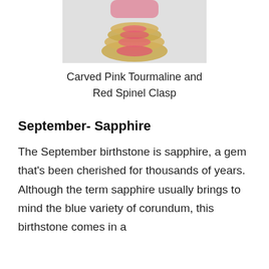[Figure (photo): Partial view of a carved pink tourmaline and red spinel clasp jewelry piece, shown from above against a light gray background.]
Carved Pink Tourmaline and Red Spinel Clasp
September- Sapphire
The September birthstone is sapphire, a gem that’s been cherished for thousands of years. Although the term sapphire usually brings to mind the blue variety of corundum, this birthstone comes in a